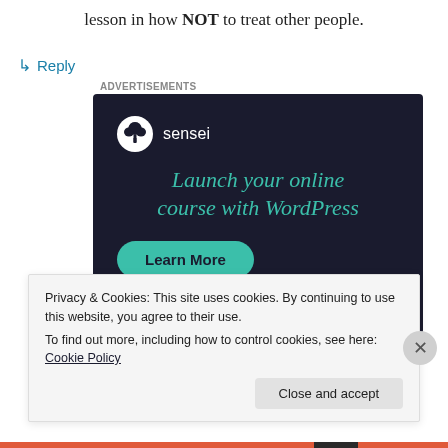lesson in how NOT to treat other people.
↳ Reply
Advertisements
[Figure (illustration): Sensei advertisement with dark navy background. Shows Sensei logo (tree icon in circle) with brand name, headline 'Launch your online course with WordPress' in teal italic text, and a teal 'Learn More' pill button.]
Privacy & Cookies: This site uses cookies. By continuing to use this website, you agree to their use.
To find out more, including how to control cookies, see here: Cookie Policy
Close and accept